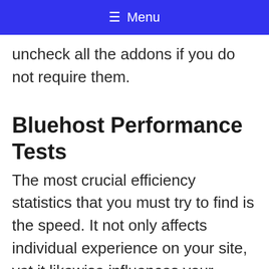☰ Menu
uncheck all the addons if you do not require them.
Bluehost Performance Tests
The most crucial efficiency statistics that you must try to find is the speed. It not only affects individual experience on your site, yet it likewise influences your WordPress SEO positions.